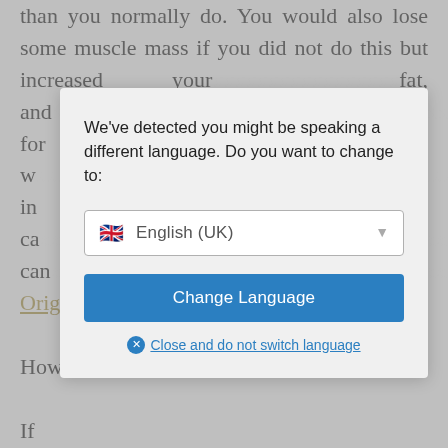than you normally do. You would also lose some muscle mass if you did not do this but increased your fat, and tage for w tion in ca You can Body Orig How If y carb diet, you can lose weight quickly. Just make sure you don't revert to previous eating habits. Diets that don't offer a variety of foods or recipes or an easy-to-follow plan are best for quick weight loss. The cabbage soup diet or the Atkins diet can help
[Figure (screenshot): A modal dialog overlay on a webpage. The modal contains text 'We've detected you might be speaking a different language. Do you want to change to:' with a language selector showing a UK flag and 'English (UK)' with dropdown arrow, a blue 'Change Language' button, and a 'Close and do not switch language' link with an X icon.]